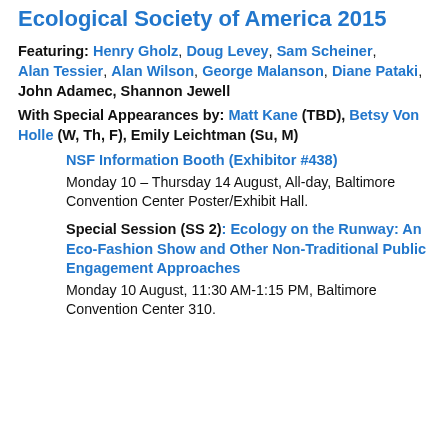Ecological Society of America 2015
Featuring: Henry Gholz, Doug Levey, Sam Scheiner, Alan Tessier, Alan Wilson, George Malanson, Diane Pataki, John Adamec, Shannon Jewell
With Special Appearances by: Matt Kane (TBD), Betsy Von Holle (W, Th, F), Emily Leichtman (Su, M)
NSF Information Booth (Exhibitor #438)
Monday 10 – Thursday 14 August, All-day, Baltimore Convention Center Poster/Exhibit Hall.
Special Session (SS 2): Ecology on the Runway: An Eco-Fashion Show and Other Non-Traditional Public Engagement Approaches
Monday 10 August, 11:30 AM-1:15 PM, Baltimore Convention Center 310.